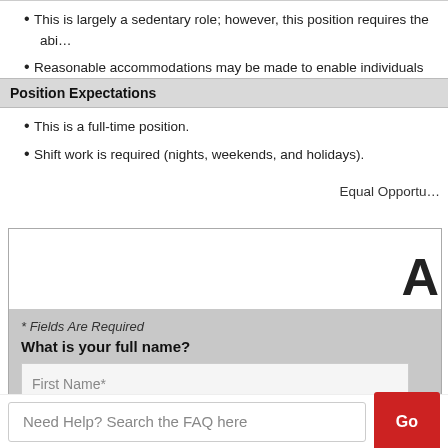This is largely a sedentary role; however, this position requires the abi…
Reasonable accommodations may be made to enable individuals with…
Position Expectations
This is a full-time position.
Shift work is required (nights, weekends, and holidays).
Equal Opportu…
* Fields Are Required
What is your full name?
First Name*
How can we contact you?
Need Help? Search the FAQ here